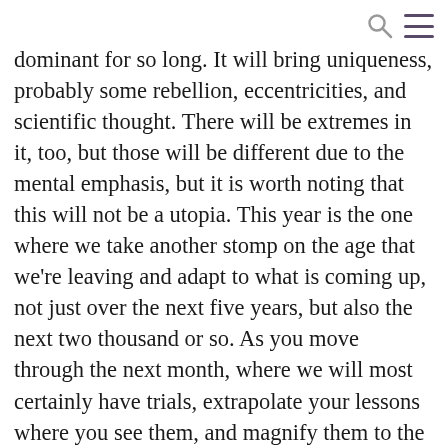[search icon] [menu icon]
dominant for so long. It will bring uniqueness, probably some rebellion, eccentricities, and scientific thought. There will be extremes in it, too, but those will be different due to the mental emphasis, but it is worth noting that this will not be a utopia. This year is the one where we take another stomp on the age that we’re leaving and adapt to what is coming up, not just over the next five years, but also the next two thousand or so. As you move through the next month, where we will most certainly have trials, extrapolate your lessons where you see them, and magnify them to the big picture. If you get stuck interpreting something, turn to the wisdom of the seven rays for guidance, and/or meditation with the